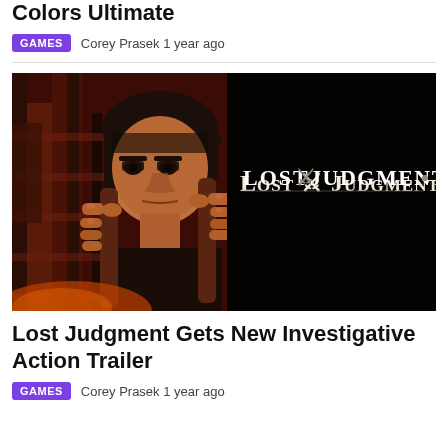Colors Ultimate
GAMES  Corey Prasek 1 year ago
[Figure (photo): Promotional image for Lost Judgment video game showing a man gripping bars with the Lost Judgment logo on the right side against a dark background]
Lost Judgment Gets New Investigative Action Trailer
GAMES  Corey Prasek 1 year ago